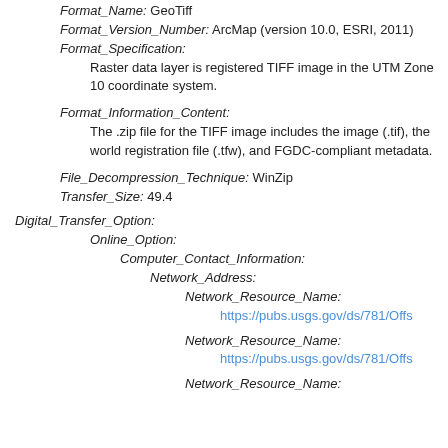Format_Name: GeoTiff
Format_Version_Number: ArcMap (version 10.0, ESRI, 2011)
Format_Specification:
Raster data layer is registered TIFF image in the UTM Zone 10 coordinate system.
Format_Information_Content:
The .zip file for the TIFF image includes the image (.tif), the world registration file (.tfw), and FGDC-compliant metadata.
File_Decompression_Technique: WinZip
Transfer_Size: 49.4
Digital_Transfer_Option:
Online_Option:
Computer_Contact_Information:
Network_Address:
Network_Resource_Name:
https://pubs.usgs.gov/ds/781/Offs...
Network_Resource_Name:
https://pubs.usgs.gov/ds/781/Offs...
Network_Resource_Name: